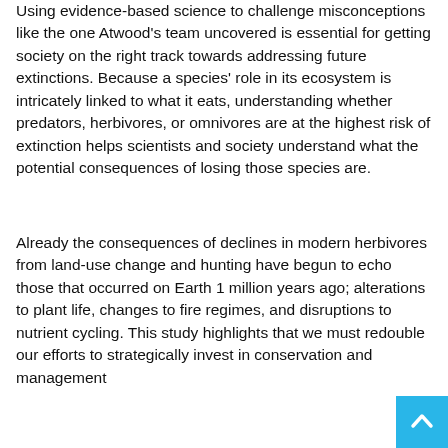Using evidence-based science to challenge misconceptions like the one Atwood's team uncovered is essential for getting society on the right track towards addressing future extinctions. Because a species' role in its ecosystem is intricately linked to what it eats, understanding whether predators, herbivores, or omnivores are at the highest risk of extinction helps scientists and society understand what the potential consequences of losing those species are.
Already the consequences of declines in modern herbivores from land-use change and hunting have begun to echo those that occurred on Earth 1 million years ago; alterations to plant life, changes to fire regimes, and disruptions to nutrient cycling. This study highlights that we must redouble our efforts to strategically invest in conservation and management